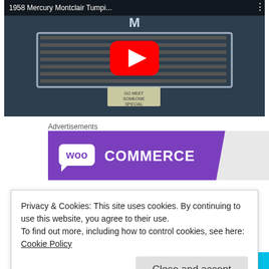[Figure (screenshot): YouTube video thumbnail showing a 1958 Mercury Montclair car front grille with a red YouTube play button overlay. Title bar reads '1958 Mercury Montclair Tumpi...' with a menu icon.]
Advertisements
[Figure (logo): WooCommerce advertisement banner with purple background showing the WooCommerce logo (white 'woo' in a rounded box and 'COMMERCE' text) on a diagonal-cut purple banner with grey background on the right.]
Privacy & Cookies: This site uses cookies. By continuing to use this website, you agree to their use.
To find out more, including how to control cookies, see here:
Cookie Policy
Close and accept
[Figure (screenshot): Bottom partial view showing a purple 'Start a new store' button and a cyan button partially visible.]